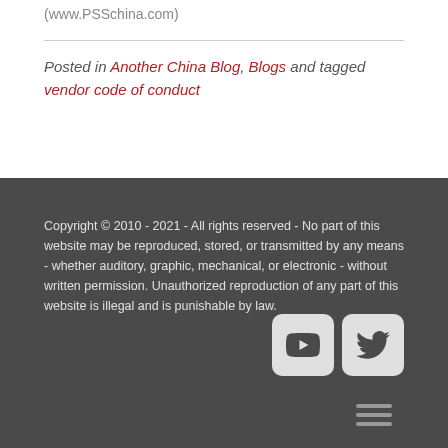(www.PSSchina.com)
Posted in Another China Blog, Blogs and tagged vendor code of conduct
Copyright © 2010 - 2021 - All rights reserved - No part of this website may be reproduced, stored, or transmitted by any means - whether auditory, graphic, mechanical, or electronic - without written permission. Unauthorized reproduction of any part of this website is illegal and is punishable by law.